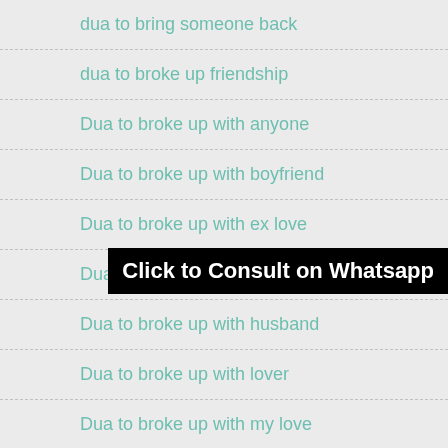dua to bring someone back
dua to broke up friendship
Dua to broke up with anyone
Dua to broke up with boyfriend
Dua to broke up with ex love
Dua to broke up with girlfriend
Dua to broke up with husband
Dua to broke up with lover
Dua to broke up with my love
Dua to broke up with wife
Click to Consult on Whatsapp